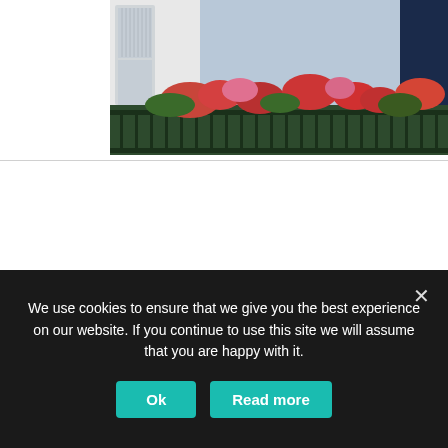[Figure (photo): Cropped photo of a building balcony with ornate dark iron railings decorated with red and pink flowers, white shuttered windows visible in background.]
Newsletter #2
9
We use cookies to ensure that we give you the best experience on our website. If you continue to use this site we will assume that you are happy with it.